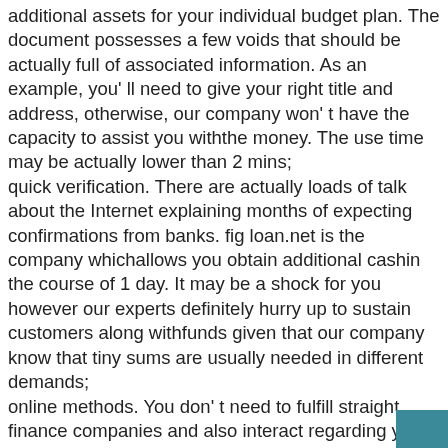additional assets for your individual budget plan. The document possesses a few voids that should be actually full of associated information. As an example, you' ll need to give your right title and address, otherwise, our company won' t have the capacity to assist you withthe money. The use time may be actually lower than 2 mins; quick verification. There are actually loads of talk about the Internet explaining months of expecting confirmations from banks. fig loan.net is the company whichallows you obtain additional cashin the course of 1 day. It may be a shock for you however our experts definitely hurry up to sustain customers along withfunds given that our company know that tiny sums are usually needed in different demands; online methods. You don' t need to fulfill straight finance companies and also interact regarding your credit plans. All the procedures are actually internet currently and you may finishour type when you' re in your working room or condo. Our experts wear' t treatment where you ' re right now as well as'the place gained ' t alter the selection to share amount of money along with you; safe legit service. All the methods are actually conducted depending on to the legislations of Daytona Beachas w